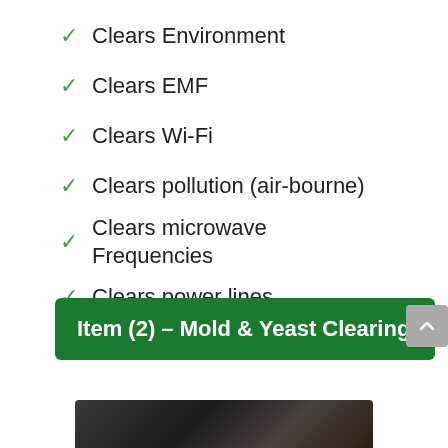✓ Clears Environment
✓ Clears EMF
✓ Clears Wi-Fi
✓ Clears pollution (air-bourne)
✓ Clears microwave Frequencies
✓ Clears power lines
Item (2) – Mold & Yeast Clearing
[Figure (photo): Partial bottom edge of a photograph, dark background, appears to be a circular/metallic object]